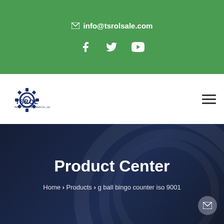info@tsrolsale.com
[Figure (logo): TSROL logo with gear icon and company name]
Product Center
Home > Products > g ball bingo counter iso 9001